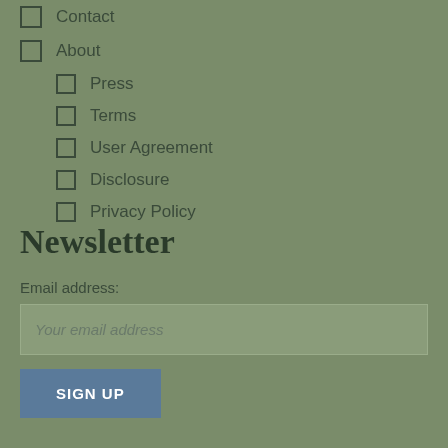Contact
About
Press
Terms
User Agreement
Disclosure
Privacy Policy
Newsletter
Email address:
Your email address
SIGN UP